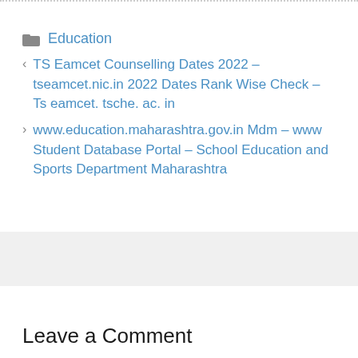Education
TS Eamcet Counselling Dates 2022 – tseamcet.nic.in 2022 Dates Rank Wise Check – Ts eamcet. tsche. ac. in
www.education.maharashtra.gov.in Mdm – www Student Database Portal – School Education and Sports Department Maharashtra
Leave a Comment